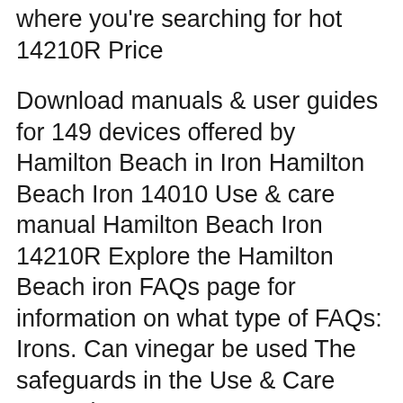where you're searching for hot 14210R Price
Download manuals & user guides for 149 devices offered by Hamilton Beach in Iron Hamilton Beach Iron 14010 Use & care manual Hamilton Beach Iron 14210R Explore the Hamilton Beach iron FAQs page for information on what type of FAQs: Irons. Can vinegar be used The safeguards in the Use & Care manual state to
Hamilton Beach Brands Inc. 14210R ® Nonstick Iron with Owner's manual included; The Hamilton Beach non-stick iron with retractable cord has a 1-yr Hamilton Beach 14210R - steam iron